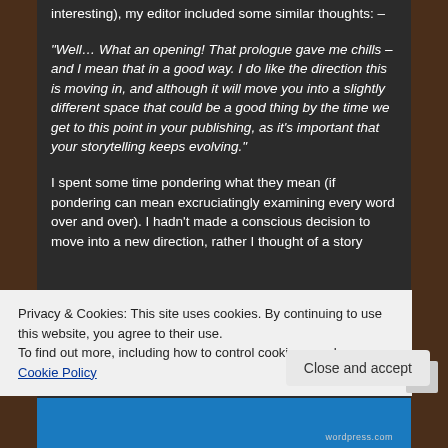interesting), my editor included some similar thoughts: –
“Well… What an opening! That prologue gave me chills – and I mean that in a good way. I do like the direction this is moving in, and although it will move you into a slightly different space that could be a good thing by the time we get to this point in your publishing, as it’s important that your storytelling keeps evolving.”
I spent some time pondering what they mean (if pondering can mean excruciatingly examining every word over and over). I hadn’t made a conscious decision to move into a new direction, rather I thought of a story
Privacy & Cookies: This site uses cookies. By continuing to use this website, you agree to their use.
To find out more, including how to control cookies, see here: Cookie Policy
Close and accept